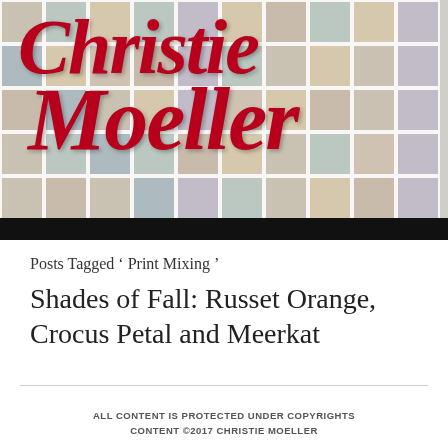[Figure (illustration): Header banner with blurred photo grid background and Christie Moeller script logo in dark red/crimson]
Posts Tagged ‘ Print Mixing ’
Shades of Fall: Russet Orange, Crocus Petal and Meerkat
ALL CONTENT IS PROTECTED UNDER COPYRIGHTS
CONTENT ©2017 CHRISTIE MOELLER